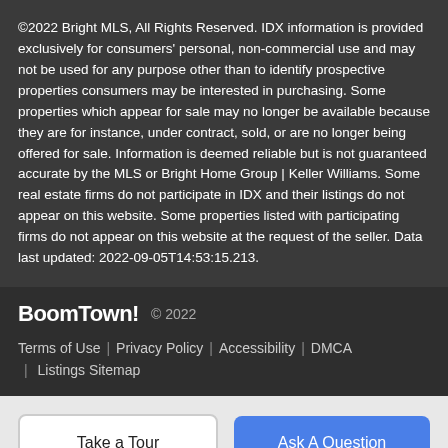©2022 Bright MLS, All Rights Reserved. IDX information is provided exclusively for consumers' personal, non-commercial use and may not be used for any purpose other than to identify prospective properties consumers may be interested in purchasing. Some properties which appear for sale may no longer be available because they are for instance, under contract, sold, or are no longer being offered for sale. Information is deemed reliable but is not guaranteed accurate by the MLS or Bright Home Group | Keller Williams. Some real estate firms do not participate in IDX and their listings do not appear on this website. Some properties listed with participating firms do not appear on this website at the request of the seller. Data last updated: 2022-09-05T14:53:15.213.
BoomTown! © 2022
Terms of Use | Privacy Policy | Accessibility | DMCA | Listings Sitemap
Take a Tour
Ask A Question